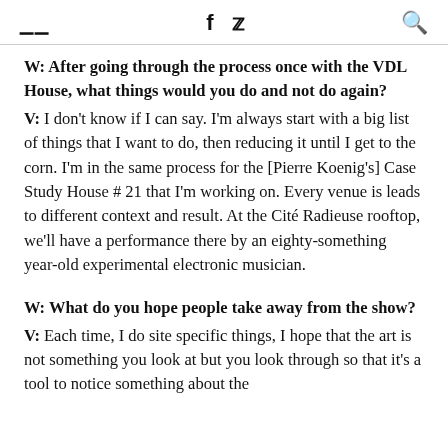≡  f  🐦  🔍
W: After going through the process once with the VDL House, what things would you do and not do again?
V: I don't know if I can say. I'm always start with a big list of things that I want to do, then reducing it until I get to the corn. I'm in the same process for the [Pierre Koenig's] Case Study House # 21 that I'm working on. Every venue is leads to different context and result. At the Cité Radieuse rooftop, we'll have a performance there by an eighty-something year-old experimental electronic musician.
W: What do you hope people take away from the show?
V: Each time, I do site specific things, I hope that the art is not something you look at but you look through so that it's a tool to notice something about the